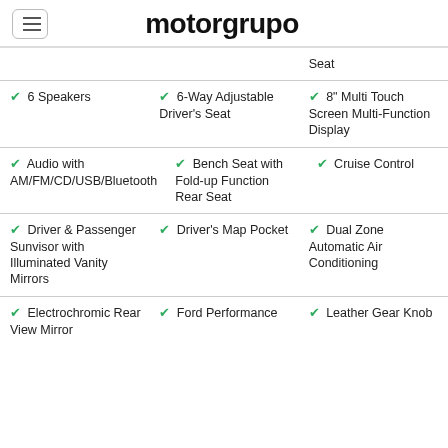motorgrupo
Seat (partial, top clipped)
6 Speakers
6-Way Adjustable Driver's Seat
8" Multi Touch Screen Multi-Function Display
Audio with AM/FM/CD/USB/Bluetooth
Bench Seat with Fold-up Function Rear Seat
Cruise Control
Driver & Passenger Sunvisor with Illuminated Vanity Mirrors
Driver's Map Pocket
Dual Zone Automatic Air Conditioning
Electrochromic Rear View Mirror
Ford Performance
Leather Gear Knob